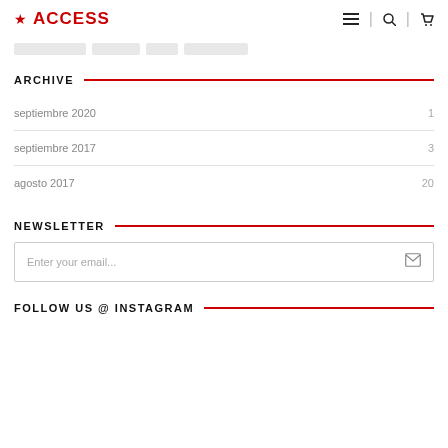★ ACCESS
ARCHIVE
septiembre 2020    1
septiembre 2017    3
agosto 2017    20
NEWSLETTER
Enter your email...
FOLLOW US @ INSTAGRAM